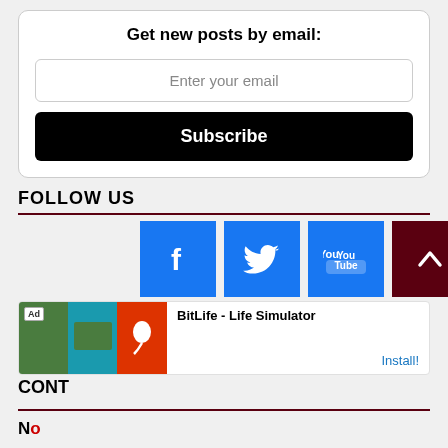Get new posts by email:
Enter your email
Subscribe
FOLLOW US
[Figure (infographic): Social media icons: Facebook (blue), Twitter (blue), YouTube (blue), and a scroll-to-top button (dark red) with upward chevron]
[Figure (infographic): Advertisement banner for BitLife - Life Simulator app with Install! call to action]
CONT
N